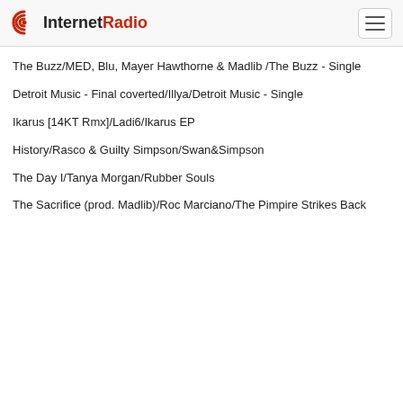InternetRadio
The Buzz/MED, Blu, Mayer Hawthorne & Madlib /The Buzz - Single
Detroit Music - Final coverted/Illya/Detroit Music - Single
Ikarus [14KT Rmx]/Ladi6/Ikarus EP
History/Rasco & Guilty Simpson/Swan&Simpson
The Day I/Tanya Morgan/Rubber Souls
The Sacrifice (prod. Madlib)/Roc Marciano/The Pimpire Strikes Back